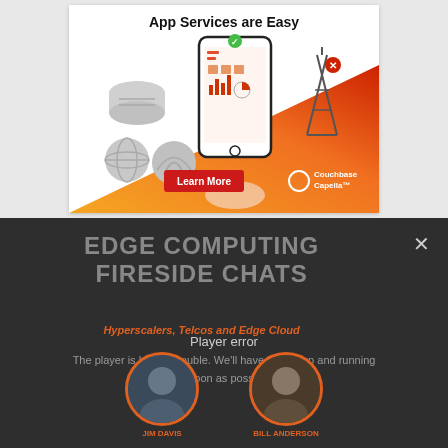[Figure (illustration): Couchbase Capella advertisement banner showing 'App Services are Easy' with a hand holding a smartphone with app icons, gradient orange-red background, icons for database and connectivity, a 'Learn More' red button, and the Couchbase Capella logo]
EDGE COMPUTING FIRESIDE CHATS
Hyperscalers, Telcos and Edge Cloud
Player error
The player is having trouble. We'll have it back up and running as soon as possible.
[Figure (photo): Two circular profile photos of speakers with orange borders, partially visible, with partially visible name labels below reading JIM DAVIS and BILL ANDERSON or similar]